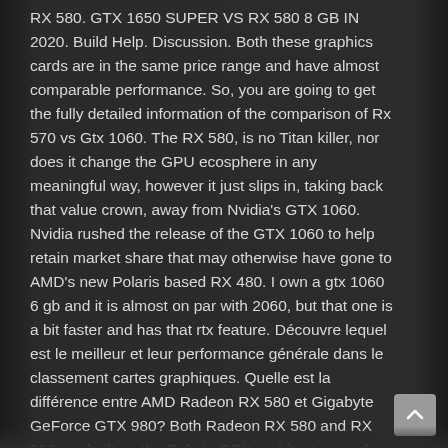RX 580. GTX 1650 SUPER VS RX 580 8 GB IN 2020. Build Help. Discussion. Both these graphics cards are in the same price range and have almost comparable performance. So, you are going to get the fully detailed information of the comparison of Rx 570 vs Gtx 1060. The RX 580, is no Titan killer, nor does it change the GPU ecosphere in any meaningful way, however it just slips in, taking back that value crown, away from Nvidia's GTX 1060. Nvidia rushed the release of the GTX 1060 to help retain market share that may otherwise have gone to AMD's new Polaris based RX 480. I own a gtx 1060 6 gb and it is almost on par with 2060, but that one is a bit faster and has that rtx feature. Découvre lequel est le meilleur et leur performance générale dans le classement cartes graphiques. Quelle est la différence entre AMD Radeon RX 580 et Gigabyte GeForce GTX 980? Both Radeon RX 580 and RX 590 are built on the Polaris GPU architecture and have same number of stream processors, which is 2304. SAPHIRE NITRO+ RX 580 8GB - used for about 140-150$... Rx 580 4gb vs gtx 1060 - Betrachten Sie...